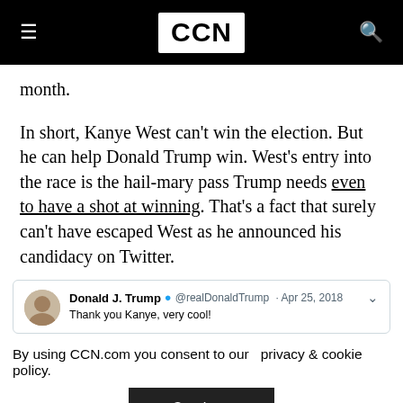CCN
month.
In short, Kanye West can't win the election. But he can help Donald Trump win. West's entry into the race is the hail-mary pass Trump needs even to have a shot at winning. That's a fact that surely can't have escaped West as he announced his candidacy on Twitter.
[Figure (screenshot): Tweet by Donald J. Trump (@realDonaldTrump) dated Apr 25, 2018 reading 'Thank you Kanye, very cool!']
By using CCN.com you consent to our  privacy & cookie policy.
Continue